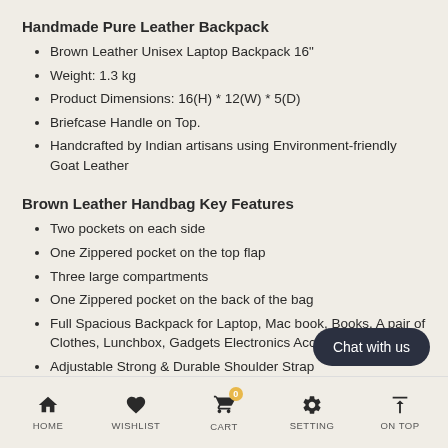Handmade Pure Leather Backpack
Brown Leather Unisex Laptop Backpack 16"
Weight: 1.3 kg
Product Dimensions: 16(H) * 12(W) * 5(D)
Briefcase Handle on Top.
Handcrafted by Indian artisans using Environment-friendly Goat Leather
Brown Leather Handbag Key Features
Two pockets on each side
One Zippered pocket on the top flap
Three large compartments
One Zippered pocket on the back of the bag
Full Spacious Backpack for Laptop, Mac book, Books, A pair of Clothes, Lunchbox, Gadgets Electronics Accessories, etc.
Adjustable Strong & Durable Shoulder Strap
HOME  WISHLIST  CART  SETTING  ON TOP